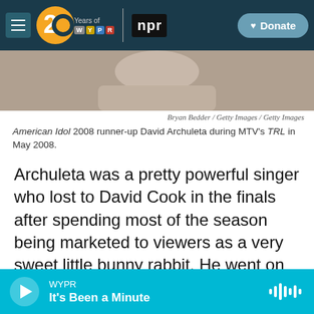20 Years of WYPR | NPR | Donate
[Figure (photo): Cropped photo of a person wearing a grey t-shirt, from shoulders/neck area only, blurred background]
Bryan Bedder / Getty Images / Getty Images
American Idol 2008 runner-up David Archuleta during MTV's TRL in May 2008.
Archuleta was a pretty powerful singer who lost to David Cook in the finals after spending most of the season being marketed to viewers as a very sweet little bunny rabbit. He went on to have a recording career including the single "Crush," and he's part of the honorable society of people who came in second in their seasons and made that supposed
WYPR — It's Been a Minute